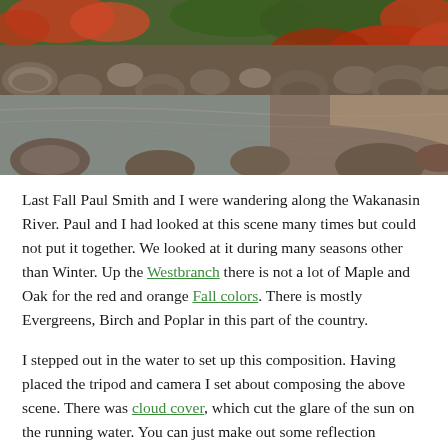[Figure (photo): Autumn riverside scene showing a rocky river with flowing water, boulders in the foreground, and red and green foliage along the banks in fall colors.]
Last Fall Paul Smith and I were wandering along the Wakanasin River. Paul and I had looked at this scene many times but could not put it together. We looked at it during many seasons other than Winter. Up the Westbranch there is not a lot of Maple and Oak for the red and orange Fall colors. There is mostly Evergreens, Birch and Poplar in this part of the country.
I stepped out in the water to set up this composition. Having placed the tripod and camera I set about composing the above scene. There was cloud cover, which cut the glare of the sun on the running water. You can just make out some reflection